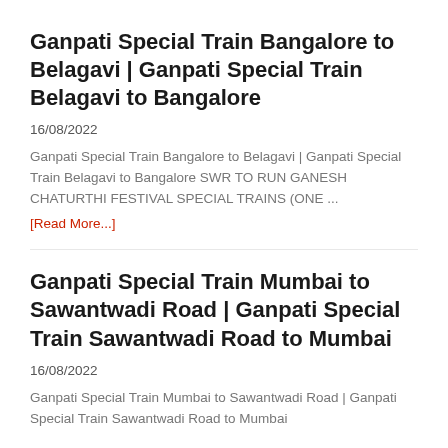Ganpati Special Train Bangalore to Belagavi | Ganpati Special Train Belagavi to Bangalore
16/08/2022
Ganpati Special Train Bangalore to Belagavi | Ganpati Special Train Belagavi to Bangalore SWR TO RUN GANESH CHATURTHI FESTIVAL SPECIAL TRAINS (ONE ...
[Read More...]
Ganpati Special Train Mumbai to Sawantwadi Road | Ganpati Special Train Sawantwadi Road to Mumbai
16/08/2022
Ganpati Special Train Mumbai to Sawantwadi Road | Ganpati Special Train Sawantwadi Road to Mumbai